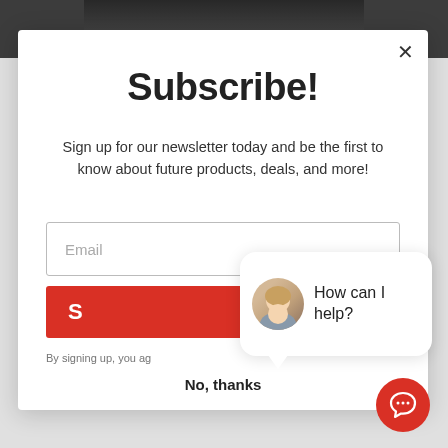[Figure (screenshot): Dark product image (leather jacket) visible at top behind modal]
Subscribe!
Sign up for our newsletter today and be the first to know about future products, deals, and more!
Email
S
By signing up, you ag
How can I help?
close
No, thanks